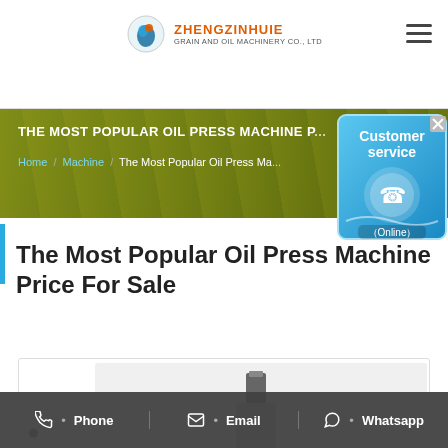ZHENGZINHUIE GRAIN AND OIL MACHINERY CO., LTD
THE MOST POPULAR OIL PRESS MACHINE PRICE FOR SALE
Home / Machine / The Most Popular Oil Press Ma...
[Figure (screenshot): Customer service online widget with phone icon]
The Most Popular Oil Press Machine Price For Sale
[Figure (photo): Oil press machine product image on light grey background]
Phone • Email • Whatsapp